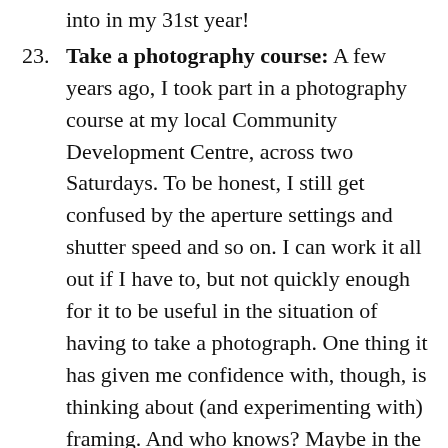into in my 31st year!
Take a photography course: A few years ago, I took part in a photography course at my local Community Development Centre, across two Saturdays. To be honest, I still get confused by the aperture settings and shutter speed and so on. I can work it all out if I have to, but not quickly enough for it to be useful in the situation of having to take a photograph. One thing it has given me confidence with, though, is thinking about (and experimenting with) framing. And who knows? Maybe in the future I'll try to go back to all the manual stuff, too.
Bake at least one cake: This is something that has been a huge success. Even…